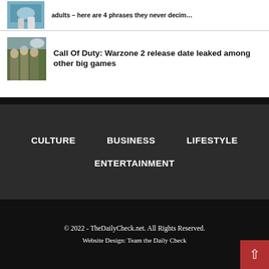adults – here are 4 phrases they never decim…
[Figure (photo): Thumbnail image of people near water]
Call Of Duty: Warzone 2 release date leaked among other big games
[Figure (photo): Thumbnail image of soldiers in Call Of Duty game]
CULTURE
BUSINESS
LIFESTYLE
ENTERTAINMENT
© 2022 - TheDailyCheck.net. All Rights Reserved.
Website Design: Team the Daily Check